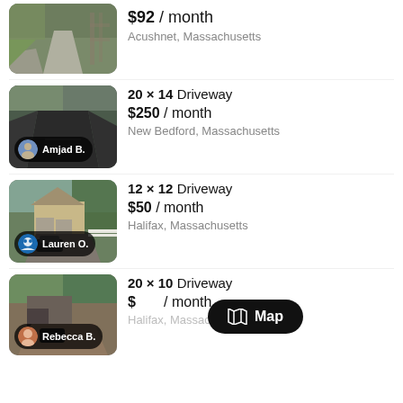[Figure (photo): Driveway photo showing a paved path, no host badge visible (top listing, partially cropped)]
$92 / month
Acushnet, Massachusetts
[Figure (photo): Dark paved driveway photo with host badge 'Amjad B.']
20 × 14 Driveway
$250 / month
New Bedford, Massachusetts
[Figure (photo): House with driveway and white fence, host badge 'Lauren O.']
12 × 12 Driveway
$50 / month
Halifax, Massachusetts
[Figure (photo): Driveway with garage, host badge 'Rebecca B.']
20 × 10 Driveway
/ month
Halifax, Massachusetts
Map